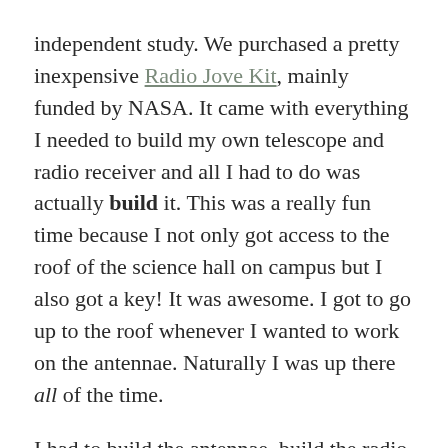independent study. We purchased a pretty inexpensive Radio Jove Kit, mainly funded by NASA. It came with everything I needed to build my own telescope and radio receiver and all I had to do was actually build it. This was a really fun time because I not only got access to the roof of the science hall on campus but I also got a key! It was awesome. I got to go up to the roof whenever I wanted to work on the antennae. Naturally I was up there all of the time.

I had to build the antennae, build the radio, and get a computer set up to be compatible with the radio and software. Then I needed a nice quiet space so I could listen to static. Yep, that's the stuff.